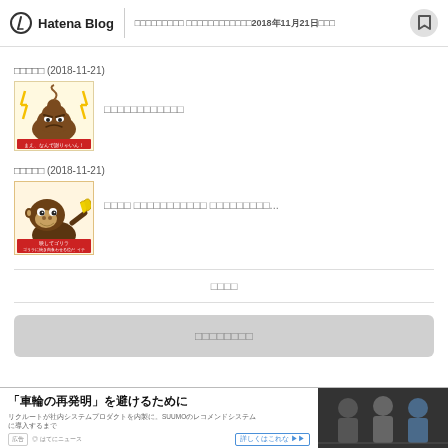Hatena Blog — □□□□□□□□□ □□□□□□□□□□□□2018年11月21日□□□
□□□□□ (2018-11-21)
[Figure (illustration): Angry poop emoji character with lightning bolts]
□□□□□□□□□□□□
□□□□□ (2018-11-21)
[Figure (illustration): Donkey Kong character holding bananas]
□□□□ □□□□□□□□□□□ □□□□□□□□□...
□□□□
□□□□□□□□
[Figure (photo): Advertisement: 車輪の再発明 を避けるために — photo of three people]
「車輪の再発明」を避けるために — リクルートが社内システムプロダクトを内製に。SUUMOのレコメンドシステムに導入するまで